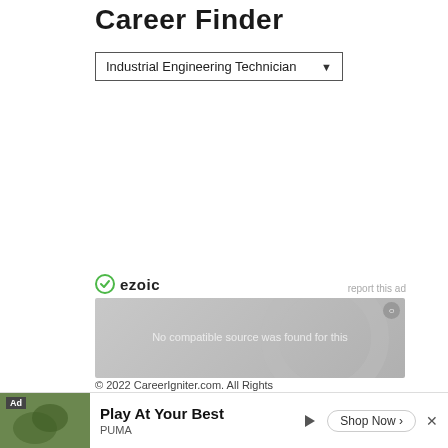Career Finder
[Figure (screenshot): Dropdown selector showing 'Industrial Engineering Technician' with a down arrow chevron, bordered box UI element]
[Figure (screenshot): Ezoic ad unit area with ezoic logo, 'report this ad' link, video player showing 'No compatible source was found for this' message with close button]
© 2022 CareerIgniter.com. All Rights
[Figure (screenshot): Ad banner: 'Ad' badge, dog photo, 'Play At Your Best' headline, PUMA brand, 'Shop Now >' button with play and X icons]